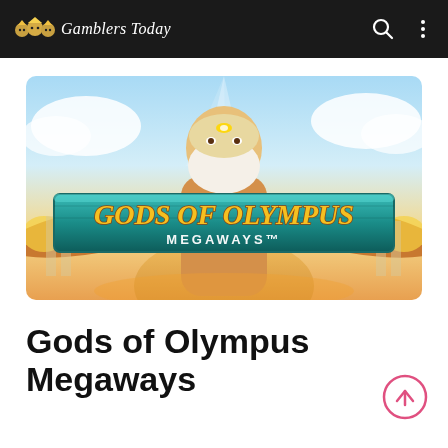Gamblers Today
[Figure (screenshot): Gods of Olympus Megaways slot game promotional banner showing Zeus with glowing hands and a teal banner with golden text reading GODS OF OLYMPUS MEGAWAYS]
Gods of Olympus Megaways